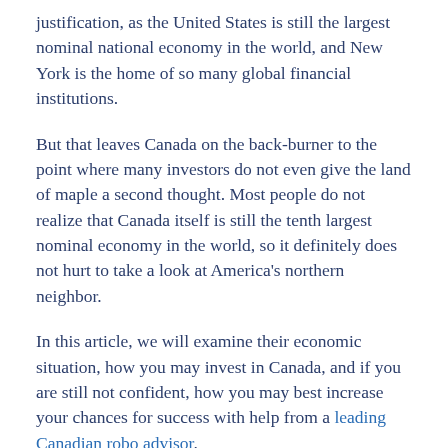justification, as the United States is still the largest nominal national economy in the world, and New York is the home of so many global financial institutions.
But that leaves Canada on the back-burner to the point where many investors do not even give the land of maple a second thought. Most people do not realize that Canada itself is still the tenth largest nominal economy in the world, so it definitely does not hurt to take a look at America's northern neighbor.
In this article, we will examine their economic situation, how you may invest in Canada, and if you are still not confident, how you may best increase your chances for success with help from a leading Canadian robo advisor.
Welcome to Canada
In many ways, Canada can come across as basically the United States but a tenth of the size. That is certainly true